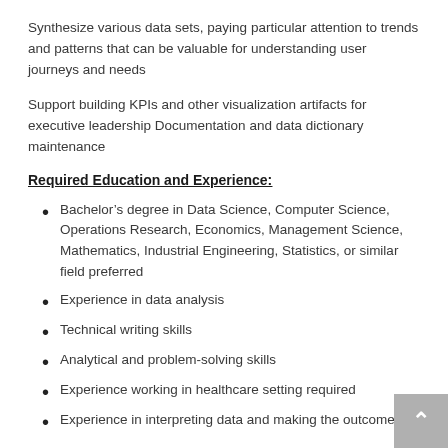Synthesize various data sets, paying particular attention to trends and patterns that can be valuable for understanding user journeys and needs
Support building KPIs and other visualization artifacts for executive leadership Documentation and data dictionary maintenance
Required Education and Experience:
Bachelor’s degree in Data Science, Computer Science, Operations Research, Economics, Management Science, Mathematics, Industrial Engineering, Statistics, or similar field preferred
Experience in data analysis
Technical writing skills
Analytical and problem-solving skills
Experience working in healthcare setting required
Experience in interpreting data and making the outcomes